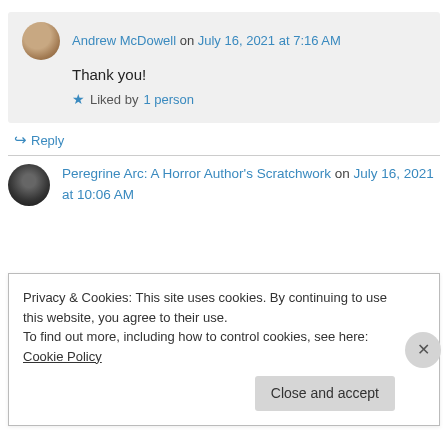Andrew McDowell on July 16, 2021 at 7:16 AM
Thank you!
Liked by 1 person
Reply
Peregrine Arc: A Horror Author's Scratchwork on July 16, 2021 at 10:06 AM
Privacy & Cookies: This site uses cookies. By continuing to use this website, you agree to their use.
To find out more, including how to control cookies, see here: Cookie Policy
Close and accept